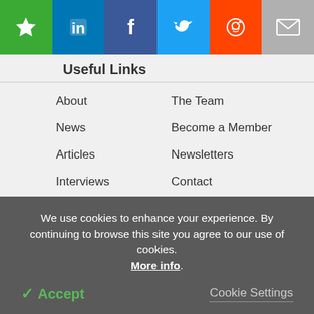[Figure (other): Social sharing bar with icons: bookmark/favorite (green), LinkedIn (blue), Facebook (dark blue), Twitter (light blue), Reddit (orange), Email (grey)]
Useful Links
About
News
Articles
Interviews
Lab Equipment
Directory
Newsletters
The Team
Become a Member
Newsletters
Contact
Search
Advertise
Terms & Conditions
Privacy & Cookie Policy
We use cookies to enhance your experience. By continuing to browse this site you agree to our use of cookies. More info.
✓ Accept   Cookie Settings